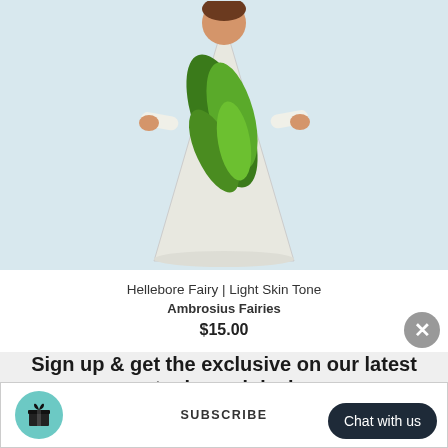[Figure (photo): A felted fairy doll wearing a white cone-shaped dress with green fern/leaf decoration, arms outstretched, light skin tone, photographed against a light blue-gray background.]
Hellebore Fairy | Light Skin Tone
Ambrosius Fairies
$15.00
Sign up & get the exclusive on our latest stocks and deals
SUBSCRIBE
Chat with us